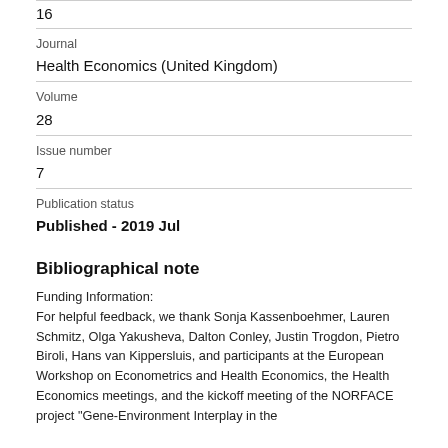16
Journal
Health Economics (United Kingdom)
Volume
28
Issue number
7
Publication status
Published - 2019 Jul
Bibliographical note
Funding Information:
For helpful feedback, we thank Sonja Kassenboehmer, Lauren Schmitz, Olga Yakusheva, Dalton Conley, Justin Trogdon, Pietro Biroli, Hans van Kippersluis, and participants at the European Workshop on Econometrics and Health Economics, the Health Economics meetings, and the kickoff meeting of the NORFACE project "Gene-Environment Interplay in the